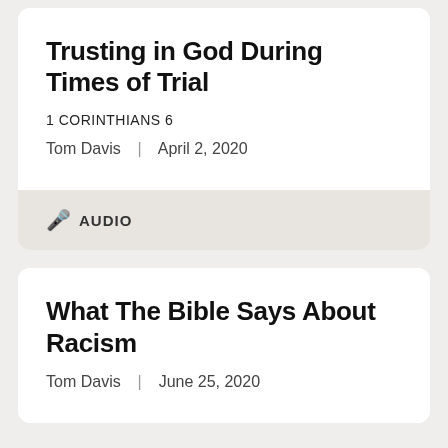Trusting in God During Times of Trial
1 CORINTHIANS 6
Tom Davis  |  April 2, 2020
AUDIO
What The Bible Says About Racism
Tom Davis  |  June 25, 2020